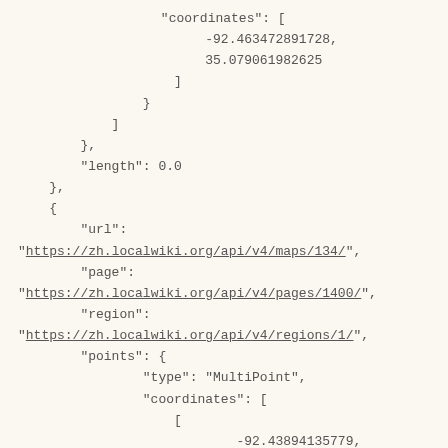"coordinates": [
                -92.463472891728,
                35.079061982625
            ]
        }
    ]
},
"length": 0.0
},
{
    "url":
"https://zh.localwiki.org/api/v4/maps/134/",
    "page":
"https://zh.localwiki.org/api/v4/pages/1400/",
    "region":
"https://zh.localwiki.org/api/v4/regions/1/",
    "points": {
        "type": "MultiPoint",
        "coordinates": [
            [
                -92.43894135779,
                35.091698366539
            ]